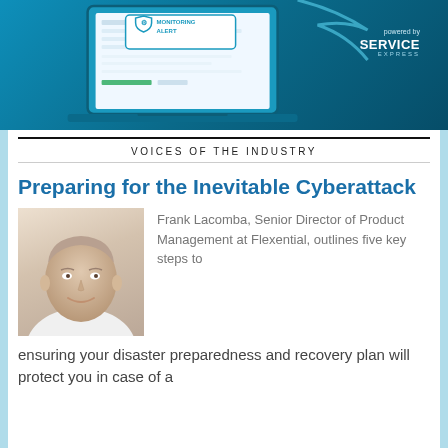[Figure (illustration): Banner advertisement with teal/blue background showing a laptop with a monitoring alert screen, shield icon, text 'MONITORING ALERT', and 'powered by SERVICE EXPRESS' logo on the right side.]
VOICES OF THE INDUSTRY
Preparing for the Inevitable Cyberattack
[Figure (photo): Headshot photo of Frank Lacomba, a middle-aged man with light complexion, smiling, wearing a white shirt.]
Frank Lacomba, Senior Director of Product Management at Flexential, outlines five key steps to ensuring your disaster preparedness and recovery plan will protect you in case of a